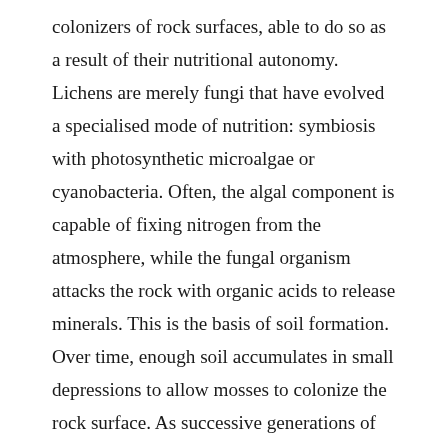colonizers of rock surfaces, able to do so as a result of their nutritional autonomy. Lichens are merely fungi that have evolved a specialised mode of nutrition: symbiosis with photosynthetic microalgae or cyanobacteria. Often, the algal component is capable of fixing nitrogen from the atmosphere, while the fungal organism attacks the rock with organic acids to release minerals. This is the basis of soil formation. Over time, enough soil accumulates in small depressions to allow mosses to colonize the rock surface. As successive generations of moss grow and die, more and more organic material accumulates on the rock surface, eventually supporting the growth of vascular plants (which extract nitrogen from the soil, rather than from atmospheric sources). These cycles of growth and death act in concert with the forces of erosion to ultimately convert barren rock to tallgrass prairie, hardwood